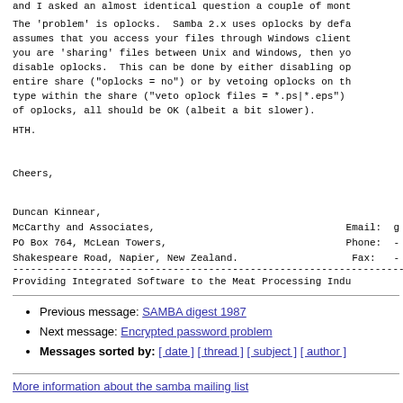and I asked an almost identical question a couple of mont
The 'problem' is oplocks.  Samba 2.x uses oplocks by defa assumes that you access your files through Windows client you are 'sharing' files between Unix and Windows, then yo disable oplocks.  This can be done by either disabling op entire share ("oplocks = no") or by vetoing oplocks on th type within the share ("veto oplock files = *.ps|*.eps") of oplocks, all should be OK (albeit a bit slower).
HTH.
Cheers,
Duncan Kinnear,
McCarthy and Associates,
PO Box 764, McLean Towers,
Shakespeare Road, Napier, New Zealand.
Email: g
Phone: -
Fax: -
--------------------------------------------------------------
Providing Integrated Software to the Meat Processing Indu
Previous message: SAMBA digest 1987
Next message: Encrypted password problem
Messages sorted by: [ date ] [ thread ] [ subject ] [ author ]
More information about the samba mailing list